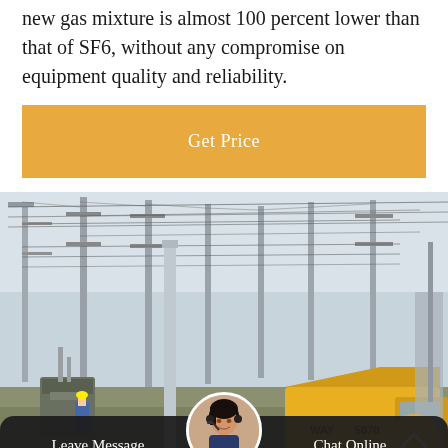new gas mixture is almost 100 percent lower than that of SF6, without any compromise on equipment quality and reliability.
Get Price
[Figure (photo): Electrical substation with high-voltage transmission towers, metal poles, cables, and a yellow utility truck. A worker in blue is visible in the background.]
Leave Message
Chat Online